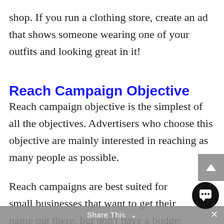shop. If you run a clothing store, create an ad that shows someone wearing one of your outfits and looking great in it!
Reach Campaign Objective
Reach campaign objective is the simplest of all the objectives. Advertisers who choose this objective are mainly interested in reaching as many people as possible.
Reach campaigns are best suited for small businesses that want to get their name out there, but don't have a budget large enough to other
Share This